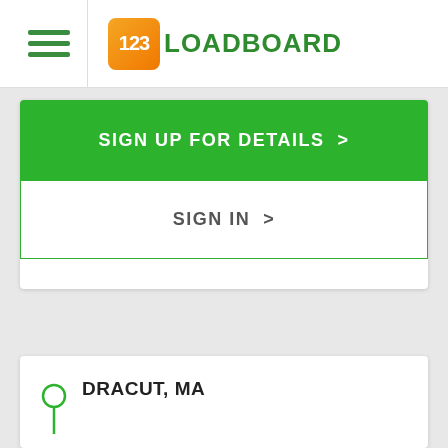[Figure (logo): 123Loadboard logo with orange rounded square containing '123' and green text 'LOADBOARD']
SIGN UP FOR DETAILS >
SIGN IN >
DRACUT, MA